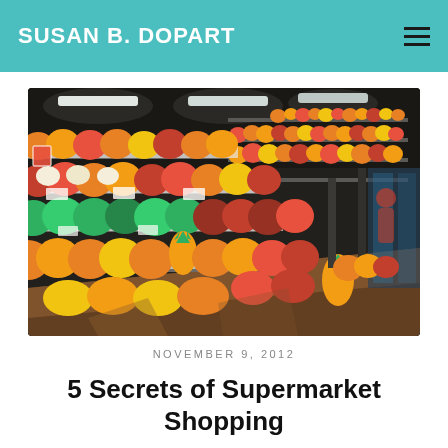SUSAN B. DOPART
[Figure (photo): Supermarket produce aisle showing rows of colorful fruits and vegetables on shelves, viewed at an angle, with overhead lighting.]
NOVEMBER 9, 2012
5 Secrets of Supermarket Shopping